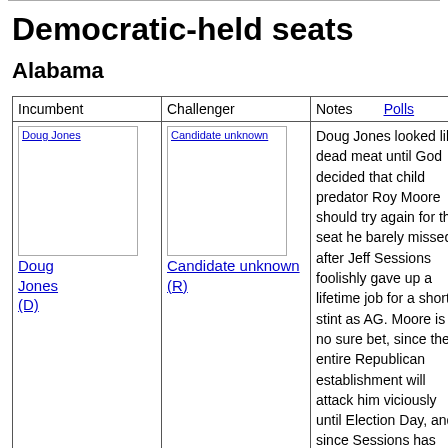Democratic-held seats
Alabama
| Incumbent | Challenger | Notes    Polls |
| --- | --- | --- |
| [img: Doug Jones]
Doug Jones (D) | [img: Candidate unknown]
Candidate unknown (R) | Doug Jones looked like dead meat until God decided that child predator Roy Moore should try again for the seat he barely missed after Jeff Sessions foolishly gave up a lifetime job for a short stint as AG. Moore is no sure bet, since the entire Republican establishment will attack him viciously until Election Day, and since Sessions has decided to try to get his old job back. Rep. Bradley Byrne (R-AL) is also in, as is Alabama Secretary of State |